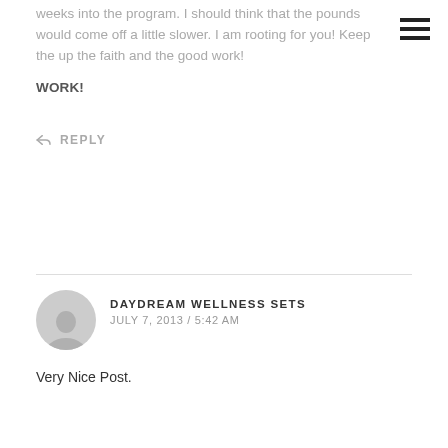weeks into the program. I should think that the pounds would come off a little slower. I am rooting for you! Keep the up the faith and the good work!
REPLY
DAYDREAM WELLNESS SETS
JULY 7, 2013 / 5:42 AM
Very Nice Post.
REPLY
SANDY VANHOEY
JULY 7, 2013 / 10:29 AM
I'm sure it is discouraging for you seeing 3 pound in 2 weeks and I looked and looked thinking maybe I missed one of your post for last week. I have heard that some weeks, it may show a lower weight loss and it could be anything from our monthly time, etc. You may be